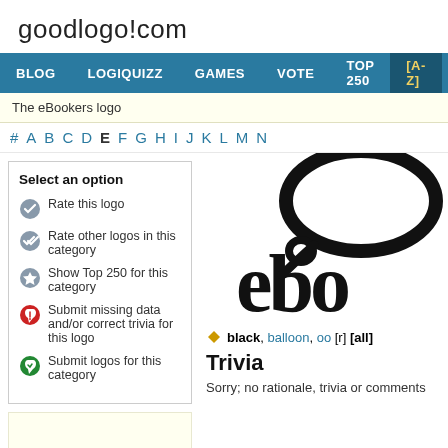goodlogo!com
BLOG  LOGIQUIZZ  GAMES  VOTE  TOP 250  [A-Z]  TAGS  T
The eBookers logo
# A B C D E F G H I J K L M N
Select an option
Rate this logo
Rate other logos in this category
Show Top 250 for this category
Submit missing data and/or correct trivia for this logo
Submit logos for this category
[Figure (logo): eBookers logo showing stylized 'ebo' letters with balloon/speech bubble in black]
black, balloon, oo [r] [all]
Trivia
Sorry; no rationale, trivia or comments